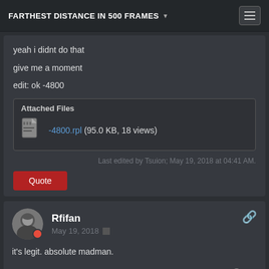FARTHEST DISTANCE IN 500 FRAMES
yeah i didnt do that
give me a moment
edit: ok -4800
Attached Files
-4800.rpl (95.0 KB, 18 views)
Last edited by Tsuion; May 19, 2018 at 04:41 AM.
Quote
Rfifan
May 19, 2018
it's legit. absolute madman.
CAN PUSGA PULL OFF A SICK 5K?
Quote